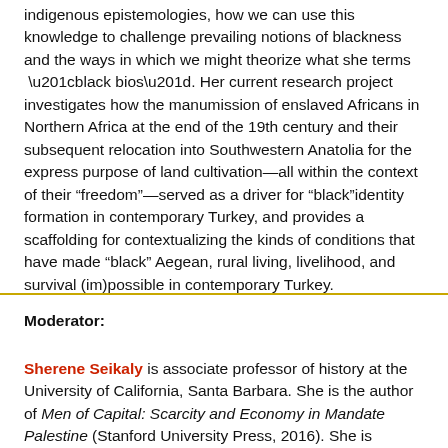indigenous epistemologies, how we can use this knowledge to challenge prevailing notions of blackness and the ways in which we might theorize what she terms “black bios”. Her current research project investigates how the manumission of enslaved Africans in Northern Africa at the end of the 19th century and their subsequent relocation into Southwestern Anatolia for the express purpose of land cultivation—all within the context of their “freedom”—served as a driver for “black”identity formation in contemporary Turkey, and provides a scaffolding for contextualizing the kinds of conditions that have made “black” Aegean, rural living, livelihood, and survival (im)possible in contemporary Turkey.
Moderator:
Sherene Seikaly is associate professor of history at the University of California, Santa Barbara. She is the author of Men of Capital: Scarcity and Economy in Mandate Palestine (Stanford University Press, 2016). She is following the trajectory of her great-grandfather in her forthcoming book titled From Baltimore to Beirut: On the Questions of Palestine. Historian of experience, the art, mobility...